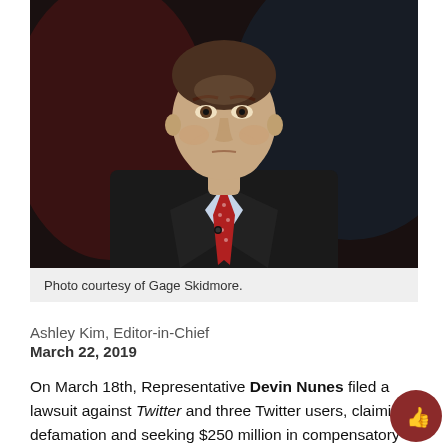[Figure (photo): Man in dark suit and red patterned tie with lapel microphone, photographed from chest up against a blurred dark red and blue background.]
Photo courtesy of Gage Skidmore.
Ashley Kim, Editor-in-Chief
March 22, 2019
On March 18th, Representative Devin Nunes filed a lawsuit against Twitter and three Twitter users, claiming defamation and seeking $250 million in compensatory damages and $350,000 in punitive damages.
Nunes’s complaint accused Twitter of “shadow-banning conservatives”—hiding and censoring their posts, in